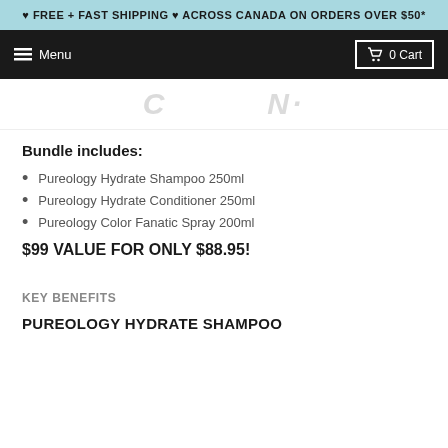♥ FREE + FAST SHIPPING ♥ ACROSS CANADA ON ORDERS OVER $50*
Menu | 0 Cart
[Figure (logo): Partial logo text visible at top of page, stylized italic lettering partially cropped]
Bundle includes:
Pureology Hydrate Shampoo 250ml
Pureology Hydrate Conditioner 250ml
Pureology Color Fanatic Spray 200ml
$99 VALUE FOR ONLY $88.95!
KEY BENEFITS
PUREOLOGY HYDRATE SHAMPOO